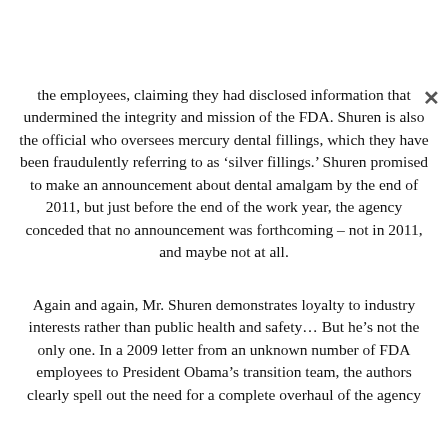the employees, claiming they had disclosed information that undermined the integrity and mission of the FDA. Shuren is also the official who oversees mercury dental fillings, which they have been fraudulently referring to as 'silver fillings.' Shuren promised to make an announcement about dental amalgam by the end of 2011, but just before the end of the work year, the agency conceded that no announcement was forthcoming – not in 2011, and maybe not at all.
Again and again, Mr. Shuren demonstrates loyalty to industry interests rather than public health and safety… But he's not the only one. In a 2009 letter from an unknown number of FDA employees to President Obama's transition team, the authors clearly spell out the need for a complete overhaul of the agency